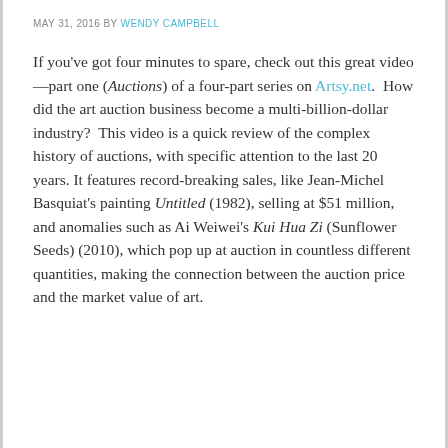MAY 31, 2016 BY WENDY CAMPBELL
If you've got four minutes to spare, check out this great video—part one (Auctions) of a four-part series on Artsy.net.  How did the art auction business become a multi-billion-dollar industry?  This video is a quick review of the complex history of auctions, with specific attention to the last 20 years. It features record-breaking sales, like Jean-Michel Basquiat's painting Untitled (1982), selling at $51 million, and anomalies such as Ai Weiwei's Kui Hua Zi (Sunflower Seeds) (2010), which pop up at auction in countless different quantities, making the connection between the auction price and the market value of art.